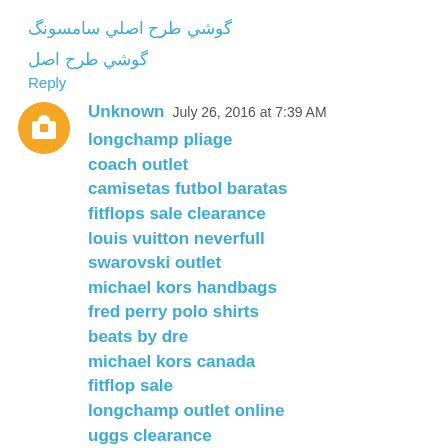گوشي طرح اصلي سامسونگ
گوشي طرح اصل
Reply
Unknown  July 26, 2016 at 7:39 AM
longchamp pliage
coach outlet
camisetas futbol baratas
fitflops sale clearance
louis vuitton neverfull
swarovski outlet
michael kors handbags
fred perry polo shirts
beats by dre
michael kors canada
fitflop sale
longchamp outlet online
uggs clearance